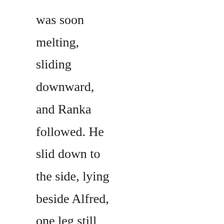was soon melting, sliding downward, and Ranka followed. He slid down to the side, lying beside Alfred, one leg still thrown over his lap, and Alfred turned his head to continue the